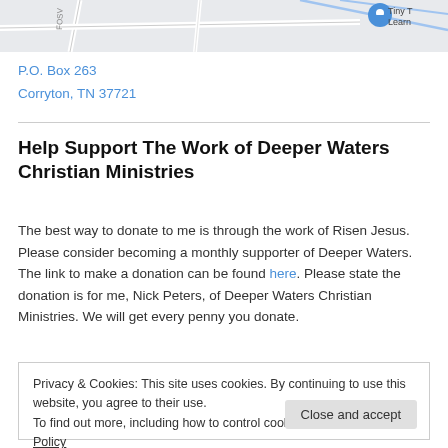[Figure (map): Partial map screenshot showing streets and a location pin labeled 'Tiny T Learn']
P.O. Box 263
Corryton, TN 37721
Help Support The Work of Deeper Waters Christian Ministries
The best way to donate to me is through the work of Risen Jesus. Please consider becoming a monthly supporter of Deeper Waters. The link to make a donation can be found here. Please state the donation is for me, Nick Peters, of Deeper Waters Christian Ministries. We will get every penny you donate.
Privacy & Cookies: This site uses cookies. By continuing to use this website, you agree to their use.
To find out more, including how to control cookies, see here: Cookie Policy